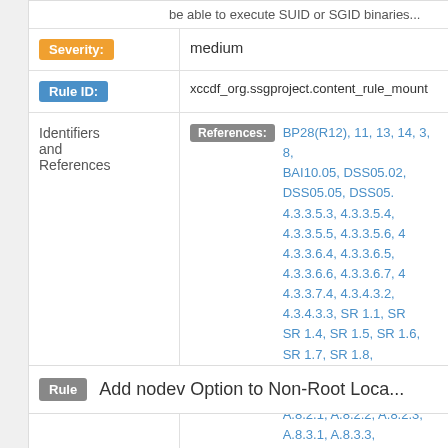| (partial) be able to execute SUID or SGID binaries... |  |
| Severity: | medium |
| Rule ID: | xccdf_org.ssgproject.content_rule_mount... |
| Identifiers and References | References: BP28(R12), 11, 13, 14, 3, 8, BAI10.05, DSS05.02, DSS05.05, DSS05... 4.3.3.5.3, 4.3.3.5.4, 4.3.3.5.5, 4.3.3.5.6, 4... 4.3.3.6.4, 4.3.3.6.5, 4.3.3.6.6, 4.3.3.6.7, 4... 4.3.3.7.4, 4.3.4.3.2, 4.3.4.3.3, SR 1.1, SR... SR 1.4, SR 1.5, SR 1.6, SR 1.7, SR 1.8, ... SR 2.6, SR 2.7, SR 7.6, A.11.2.9, A.12.1... A.8.2.1, A.8.2.2, A.8.2.3, A.8.3.1, A.8.3.3... 004-6 R2.3, CIP-007-3 R2.1, CIP-007-3 R... R5.1.1, CIP-007-3 R5.1.2, CM-7(a), CM-7... PR.PT-2, PR.PT-3, SRG-OS-000368-GP... |
Rule  Add nodev Option to Non-Root Loca...